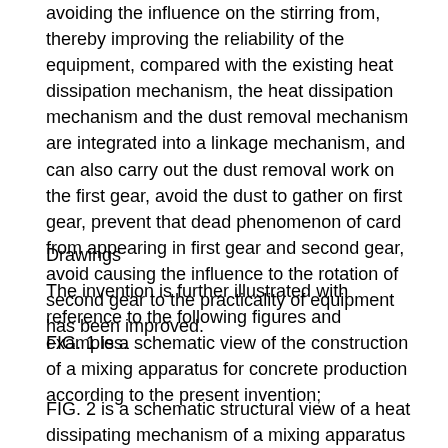avoiding the influence on the stirring from, thereby improving the reliability of the equipment, compared with the existing heat dissipation mechanism, the heat dissipation mechanism and the dust removal mechanism are integrated into a linkage mechanism, and can also carry out the dust removal work on the first gear, avoid the dust to gather on first gear, prevent that dead phenomenon of card from appearing in first gear and second gear, avoid causing the influence to the rotation of second gear to the practicality of equipment has been improved.
Drawings
The invention is further illustrated with reference to the following figures and examples.
FIG. 1 is a schematic view of the construction of a mixing apparatus for concrete production according to the present invention;
FIG. 2 is a schematic structural view of a heat dissipating mechanism of a mixing apparatus for concrete production according to the present invention;
FIG. 3 is a schematic structural view of a dust removing